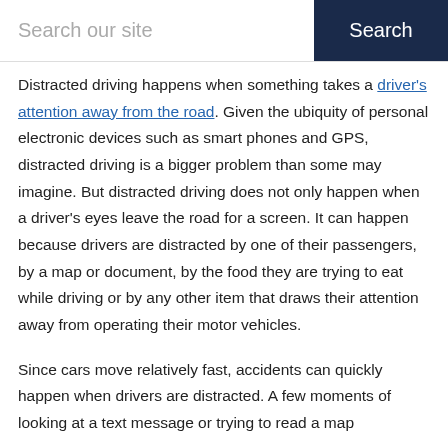Search our site | Search
Distracted driving happens when something takes a driver's attention away from the road. Given the ubiquity of personal electronic devices such as smart phones and GPS, distracted driving is a bigger problem than some may imagine. But distracted driving does not only happen when a driver's eyes leave the road for a screen. It can happen because drivers are distracted by one of their passengers, by a map or document, by the food they are trying to eat while driving or by any other item that draws their attention away from operating their motor vehicles.
Since cars move relatively fast, accidents can quickly happen when drivers are distracted. A few moments of looking at a text message or trying to read a map